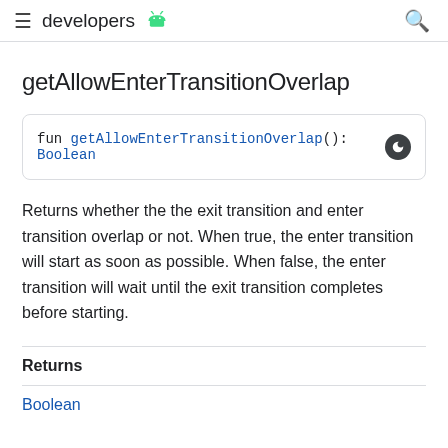developers
getAllowEnterTransitionOverlap
fun getAllowEnterTransitionOverlap(): Boolean
Returns whether the the exit transition and enter transition overlap or not. When true, the enter transition will start as soon as possible. When false, the enter transition will wait until the exit transition completes before starting.
| Returns |
| --- |
| Boolean |